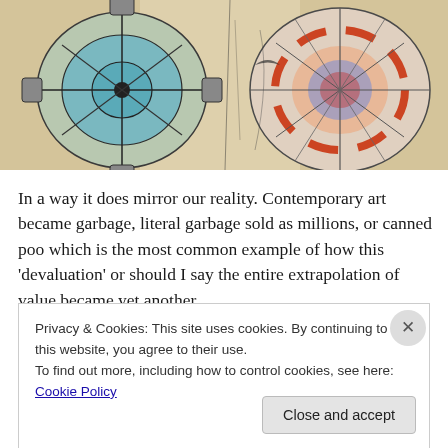[Figure (illustration): Artwork image showing two circular mandala-like wheel designs on a mixed-media background. Left wheel is rendered in blue-green tones; right wheel in red, blue and orange. Background is yellowed/aged with dark ink marks and drips.]
In a way it does mirror our reality. Contemporary art became garbage, literal garbage sold as millions, or canned poo which is the most common example of how this ‘devaluation’ or should I say the entire extrapolation of value became yet another
Privacy & Cookies: This site uses cookies. By continuing to use this website, you agree to their use.
To find out more, including how to control cookies, see here: Cookie Policy
Close and accept